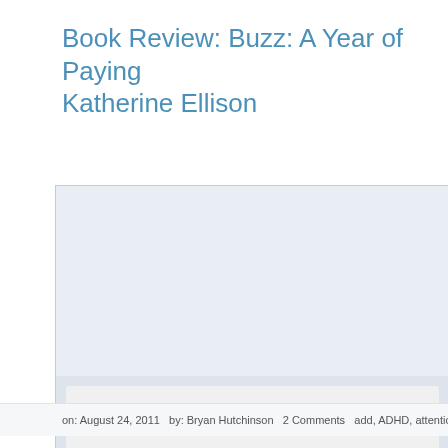Book Review: Buzz: A Year of Paying Katherine Ellison
[Figure (photo): Book cover of 'Buzz' by Katherine Ellison showing large decorative letters B and Z in dark green/red with a bee illustration between them, and author name Katherine Ellison in vertical text]
on: August 24, 2011   by: Bryan Hutchinson   2 Comments   add, ADHD, attention, book, B...